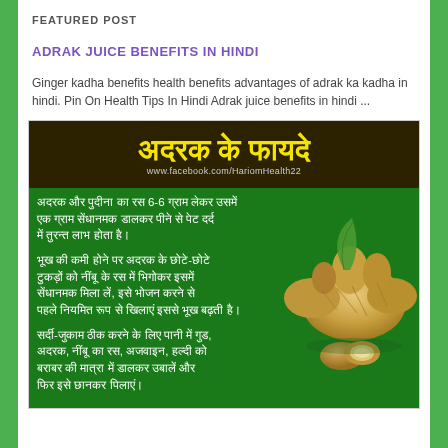FEATURED POST
ADRAK JUICE BENEFITS IN HINDI
Ginger kadha benefits health benefits advantages of adrak ka kadha in hindi. Pin On Health Tips In Hindi Adrak juice benefits in hindi ...
[Figure (infographic): Infographic about benefits of ginger (adrak ke fayde) in Hindi. Dark header with yellow Hindi title text 'अदरक के फायदे' and facebook.com/HariomHealth22. Green body with three Hindi bullet points about ginger health benefits, with image of ginger root on right side.]